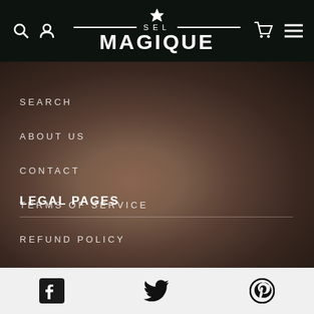SEL MAGIQUE
SEARCH
ABOUT US
CONTACT
TERMS OF SERVICE
REFUND POLICY
LEGAL PAGES
Facebook Twitter Pinterest